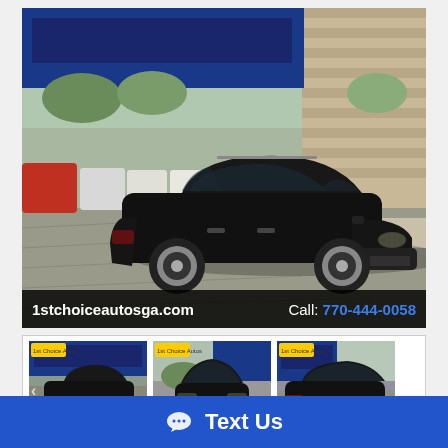[Figure (photo): Black Chevrolet Equinox SUV parked at dealership lot with blue building in background. Watermark bar at bottom: '1stchoiceautosga.com' and 'Call: 770-444-0058']
[Figure (photo): Thumbnail 1: Side view of black Chevrolet Equinox at dealership]
[Figure (photo): Thumbnail 2: Front view of black Chevrolet Equinox]
[Figure (photo): Thumbnail 3: Rear/side view of black Chevrolet Equinox]
Photos (29)
Text Us